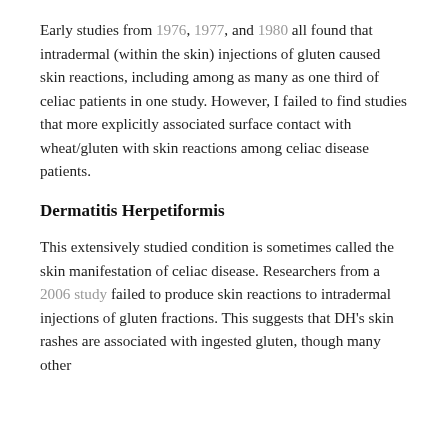Early studies from 1976, 1977, and 1980 all found that intradermal (within the skin) injections of gluten caused skin reactions, including among as many as one third of celiac patients in one study. However, I failed to find studies that more explicitly associated surface contact with wheat/gluten with skin reactions among celiac disease patients.
Dermatitis Herpetiformis
This extensively studied condition is sometimes called the skin manifestation of celiac disease. Researchers from a 2006 study failed to produce skin reactions to intradermal injections of gluten fractions. This suggests that DH's skin rashes are associated with ingested gluten, though many other